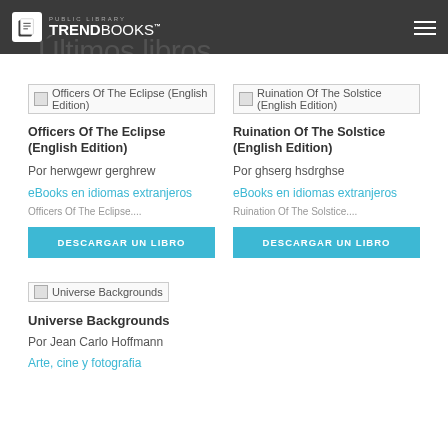TRENDBOOKS - Últimos libros
Últimos libros
[Figure (other): Broken image placeholder for Officers Of The Eclipse (English Edition)]
Officers Of The Eclipse (English Edition)
Por herwgewr gerghrew
eBooks en idiomas extranjeros
Officers Of The Eclipse....
DESCARGAR UN LIBRO
[Figure (other): Broken image placeholder for Ruination Of The Solstice (English Edition)]
Ruination Of The Solstice (English Edition)
Por ghserg hsdrghse
eBooks en idiomas extranjeros
Ruination Of The Solstice....
DESCARGAR UN LIBRO
[Figure (other): Broken image placeholder for Universe Backgrounds]
Universe Backgrounds
Por Jean Carlo Hoffmann
Arte, cine y fotografia